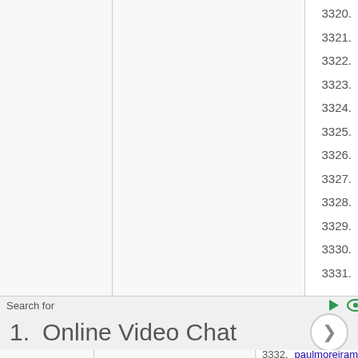3320. imgget.net
3321. onetreeleft.com
3322. demosta.com
3323. abwoodenwat...
3324. trackmyphone...
3325. diggclassifieds...
3326. dadazee.com
3327. imgdollar.com
3328. mon-protect.n...
3329. x-realities.com
3330. natigalaw.com
3331. ex-girlfriends.n...
Search for
1.  Online Video Chat
3332. paulmoreiram...